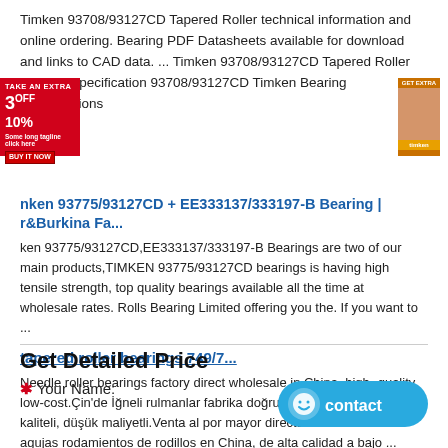Timken 93708/93127CD Tapered Roller technical information and online ordering. Bearing PDF Datasheets available for download and links to CAD data. ... Timken 93708/93127CD Tapered Roller Bearing Specification 93708/93127CD Timken Bearing Specifications
nken 93775/93127CD + EE333137/333197-B Bearing | r&Burkina Fa...
ken 93775/93127CD,EE333137/333197-B Bearings are two of our main products,TIMKEN 93775/93127CD bearings is having high tensile strength, top quality bearings available all the time at wholesale rates. Rolls Bearing Limited offering you the. If you want to ...
tapered roller bearings 749/7...
Needle roller bearings factory direct wholesale in China, high- quality low-cost.Çin'de İğneli rulmanlar fabrika doğrudan toptan, yüksek kaliteli, düşük maliyetli.Venta al por mayor directa de la fábrica de agujas rodamientos de rodillos en China, de alta calidad a bajo ...
Get Detailed Price
* Your Name: